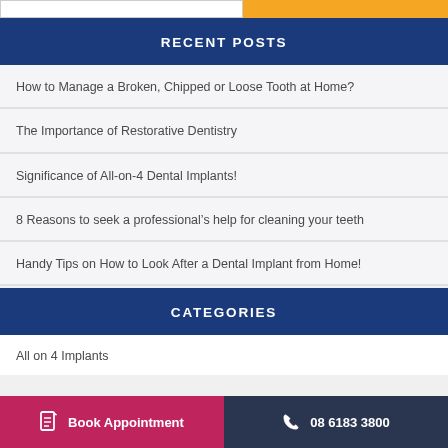RECENT POSTS
How to Manage a Broken, Chipped or Loose Tooth at Home?
The Importance of Restorative Dentistry
Significance of All-on-4 Dental Implants!
8 Reasons to seek a professional’s help for cleaning your teeth
Handy Tips on How to Look After a Dental Implant from Home!
CATEGORIES
All on 4 Implants
Book Appointment   08 6183 3800